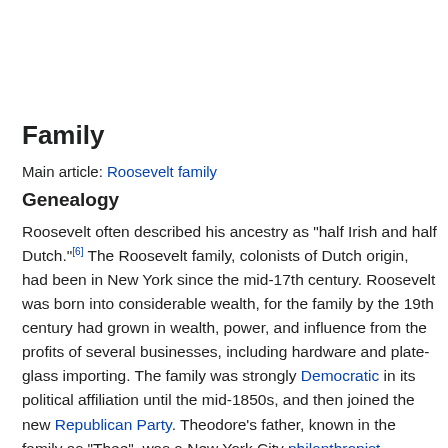Family
Main article: Roosevelt family
Genealogy
Roosevelt often described his ancestry as "half Irish and half Dutch."[6] The Roosevelt family, colonists of Dutch origin, had been in New York since the mid-17th century. Roosevelt was born into considerable wealth, for the family by the 19th century had grown in wealth, power, and influence from the profits of several businesses, including hardware and plate-glass importing. The family was strongly Democratic in its political affiliation until the mid-1850s, and then joined the new Republican Party. Theodore's father, known in the family as "Thee", was a New York City philanthropist, merchant, and partner in the family glass-importing firm Roosevelt and Son. "Father," as the children called him, was an ardent Unionist, a prominent supporter of Abraham Lincoln and the Union effort during